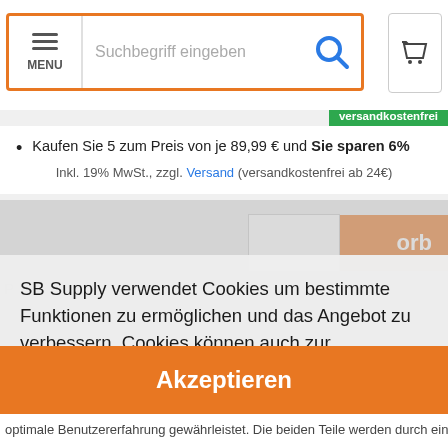MENU | Suchbegriff eingeben [search icon] [cart icon]
versandkostenfrei
Kaufen Sie 5 zum Preis von je 89,99 € und Sie sparen 6%
Inkl. 19% MwSt., zzgl. Versand (versandkostenfrei ab 24€)
SB Supply verwendet Cookies um bestimmte Funktionen zu ermöglichen und das Angebot zu verbessern. Cookies können auch zur Personalisierung von Anzeigen verwendet werden. Mit der weiteren Nutzung unserer Website geben Sie Ihre Erlaubnis und stimmen der Verwendung von Cookies zu  Weitere Informationen
Akzeptieren
optimale Benutzererfahrung gewährleistet. Die beiden Teile werden durch ein